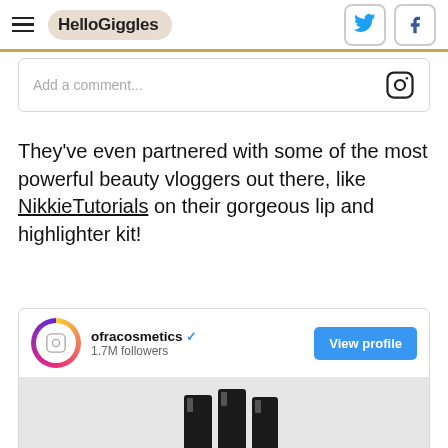HelloGiggles
Add a comment...
They’ve even partnered with some of the most powerful beauty vloggers out there, like NikkieTutorials on their gorgeous lip and highlighter kit!
[Figure (screenshot): Instagram embed showing ofracosmetics account with 1.7M followers, a View profile button, and product images of dark cosmetic tubes at the bottom]